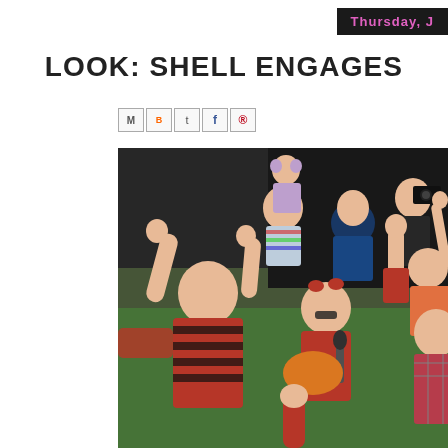Thursday, J
LOOK: SHELL ENGAGES
[Figure (other): Social media sharing icons: Email (M), BlogThis (B), Twitter (t), Facebook (f), Pinterest (circle-p)]
[Figure (photo): Children sitting on floor with hands raised enthusiastically at an indoor event, with adults and a photographer in the background. Children are wearing red clothing. A woman in the foreground holds a microphone.]